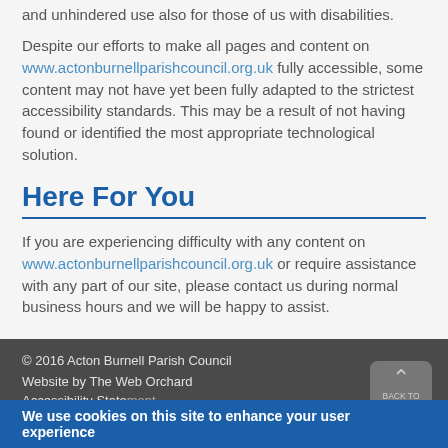and unhindered use also for those of us with disabilities.
Despite our efforts to make all pages and content on www.actonburnellparishcouncil.org.uk fully accessible, some content may not have yet been fully adapted to the strictest accessibility standards. This may be a result of not having found or identified the most appropriate technological solution.
Here For You
If you are experiencing difficulty with any content on www.actonburnellparishcouncil.org.uk or require assistance with any part of our site, please contact us during normal business hours and we will be happy to assist.
© 2016 Acton Burnell Parish Council
Website by The Web Orchard
Accessibility Statement
We use cookies on this site to enhance your user experience